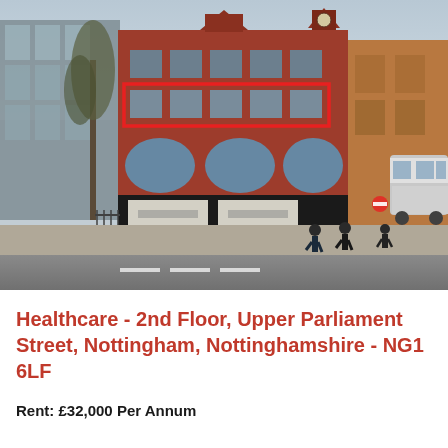[Figure (photo): Street-level photograph of a Victorian red-brick commercial building on Upper Parliament Street, Nottingham. The second floor is highlighted with a red rectangular outline. The building features arched windows on the ground floor with modern glazing. Pedestrians are visible on the pavement and a double-decker bus is on the right side.]
Healthcare - 2nd Floor, Upper Parliament Street, Nottingham, Nottinghamshire - NG1 6LF
Rent: £32,000 Per Annum